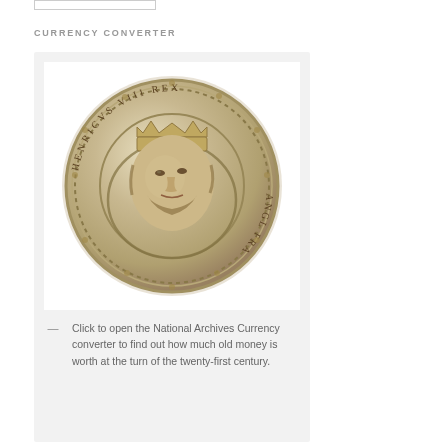CURRENCY CONVERTER
[Figure (photo): A historical silver coin showing a crowned king's face in profile, with Latin text around the edge. The coin appears to be a medieval English groat or similar denomination.]
— Click to open the National Archives Currency converter to find out how much old money is worth at the turn of the twenty-first century.